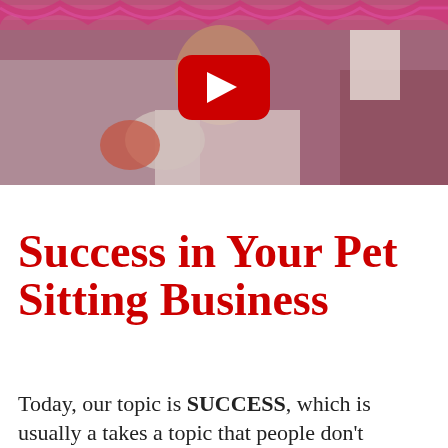[Figure (screenshot): YouTube video thumbnail showing a woman with long blonde/brown hair sitting on a couch with pink patterned wallpaper background, with a red YouTube play button overlay in the center]
Success in Your Pet Sitting Business
Today, our topic is SUCCESS, which is usually a takes a topic that people don't